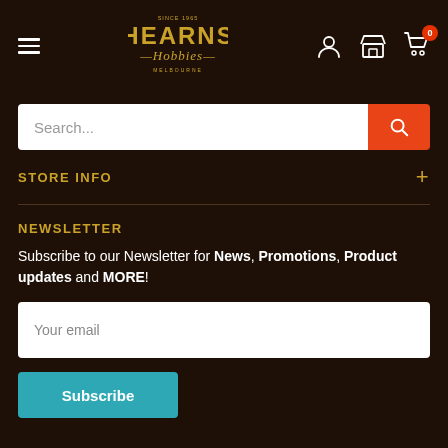[Figure (logo): Hearns Hobbies Melbourne logo in gold/yellow text on dark brown background]
Search...
STORE INFO
NEWSLETTER
Subscribe to our Newsletter for News, Promotions, Product updates and MORE!
Your email
Subscribe